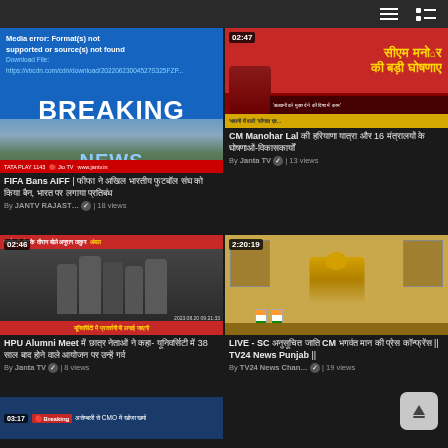[Figure (screenshot): Top navigation bar with hamburger menu and list view icons]
[Figure (screenshot): Breaking news thumbnail showing media error message on blue background with BREAKING NEWS text in white, and parliament building below with red channel bar]
FIFA Bans AIFF | फीफा ने अखिल भारतीय फुटबॉल संघ को किया बैन, भारत पर लगाया प्रतिबंध By JANTV RAJAST... ✓ | 18 views
[Figure (screenshot): Video thumbnail showing CM Manohar Lal with duration 02:47, red banner with Hindi text about announcements]
CM Manohar Lal की हरियाणा यात्रा और 16 मंत्रालयों के घोषणाओं-विकासकार्यों By Janta TV ✓ | 13 views
[Figure (screenshot): HPU Alumni Meet video thumbnail with duration 02:46, crowd scene, red bar at bottom with Hindi text]
HPU Alumni Meet में छात्र नेताओं ने कहा- यूनिवर्सिटी में 38 साल बाद होने वाले आयोजन पर उन्हें गर्व By Janta TV ✓ | 8 views
[Figure (screenshot): LIVE SC video thumbnail with duration 2:20:19, person in yellow turban seated at desk with Indian flags and portraits on wall]
LIVE - SC अनुसूचित जाति CM भगवंत मान की प्रेस कॉन्फ्रेंस || TV24 News Punjab || By TV24 News Chan... ✓ | 19 views
[Figure (screenshot): Partial bottom card with duration 03:17, dark blue background with red badge and Hindi text]
[Figure (screenshot): Scroll to top button in bottom right corner]